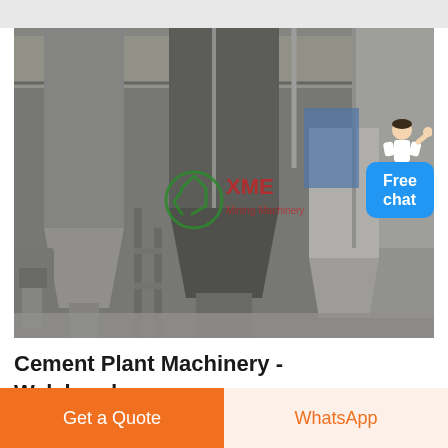[Figure (photo): Interior of a cement plant facility showing large industrial hopper/silo machinery, conveyor systems, and processing equipment in a warehouse setting. A green and red XME brand logo watermark is visible in the center of the image.]
Cement Plant Machinery - Walchandnagar
Get a Quote
WhatsApp